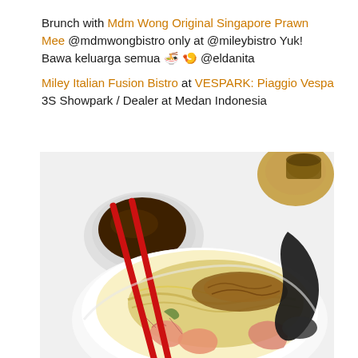Brunch with Mdm Wong Original Singapore Prawn Mee @mdmwongbistro only at @mileybistro Yuk! Bawa keluarga semua 🍜 🍤 @eldanita

Miley Italian Fusion Bistro at VESPARK: Piaggio Vespa 3S Showpark / Dealer at Medan Indonesia
[Figure (photo): A bowl of Singapore Prawn Mee (prawn noodles) with red chopsticks resting on the rim and a black soup spoon. The bowl contains yellow noodles topped with prawns and fried shallots. In the background, a small metal bowl of dark broth/sauce sits on a white plate. In the upper right corner, a wooden tray with a brown cup is partially visible. The setting is on a white surface.]